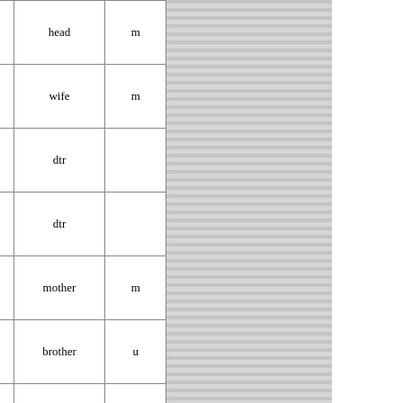| Location | Name | Relationship | Marital Status |
| --- | --- | --- | --- |
| Stones | Gledhill | head | m |
|  | Martha Gledhill | wife | m |
|  | Lucy Marshall | dtr |  |
|  | Grace Gledhill | dtr |  |
|  | Mary Howorth | mother | m |
|  | Robert Gledhill | brother | u |
|  |  |  |  |
| Gaulksholme Stones | Mark Diggle | head | m |
|  | Betty Diggle | wife | m |
|  | William Diggle | son | u |
|  | Mary Diggle | dtr | u |
[Figure (infographic): Fold3 by Ancestry advertisement banner: 'Discover your family's military past' with Search Now button and historical soldier photo]